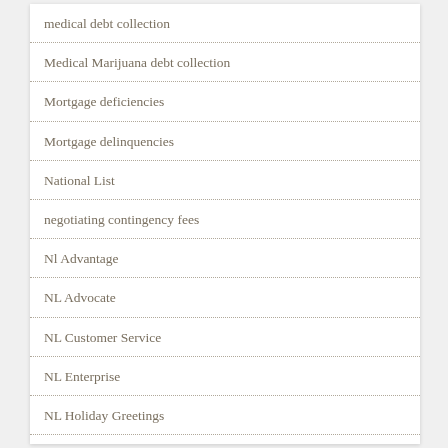medical debt collection
Medical Marijuana debt collection
Mortgage deficiencies
Mortgage delinquencies
National List
negotiating contingency fees
Nl Advantage
NL Advocate
NL Customer Service
NL Enterprise
NL Holiday Greetings
NL Insider